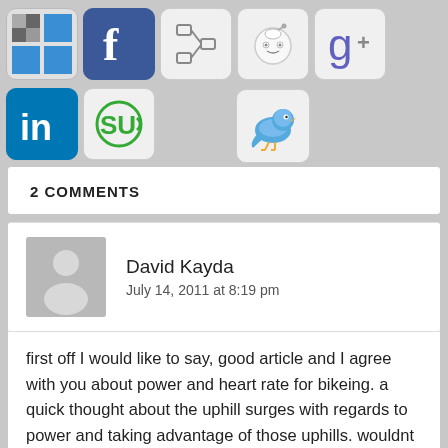[Figure (infographic): Row of social media sharing icons: Windows/Metro, Facebook, a diagram/share icon, Reddit, Google+, LinkedIn, StumbleUpon, and Twitter bird icon below]
2 COMMENTS
David Kayda
July 14, 2011 at 8:19 pm
first off I would like to say, good article and I agree with you about power and heart rate for bikeing. a quick thought about the uphill surges with regards to power and taking advantage of those uphills. wouldnt that be the same as what many refer to as burning matches or going to hard? if not maybe you could clarify what kind of surge and I b...